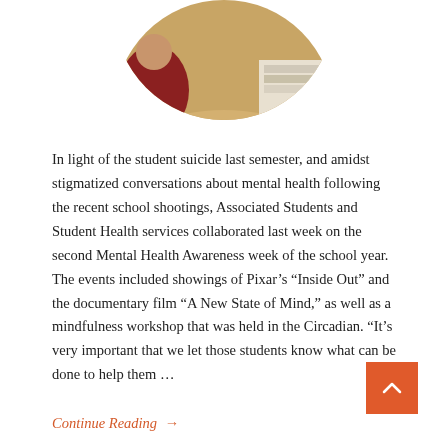[Figure (photo): Circular cropped photo of students sitting at a round table with books and papers, viewed from above.]
In light of the student suicide last semester, and amidst stigmatized conversations about mental health following the recent school shootings, Associated Students and Student Health services collaborated last week on the second Mental Health Awareness week of the school year. The events included showings of Pixar's “Inside Out” and the documentary film “A New State of Mind,” as well as a mindfulness workshop that was held in the Circadian. “It’s very important that we let those students know what can be done to help them …
Continue Reading →